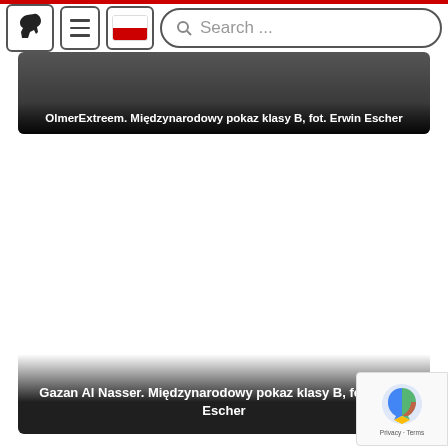Navigation bar with horse logo, menu, Polish flag, and Search input
OlmerExtreem. Międzynarodowy pokaz klasy B, fot. Erwin Escher
[Figure (photo): Photo card of OlmerExtreem horse, partially visible at top, with caption overlay]
[Figure (photo): Photo card of Gazan Al Nasser horse, white/light background image area, with caption overlay at bottom]
Gazan Al Nasser. Międzynarodowy pokaz klasy B, fot. Erwin Escher
[Figure (other): reCAPTCHA badge with Privacy and Terms links in bottom right corner]